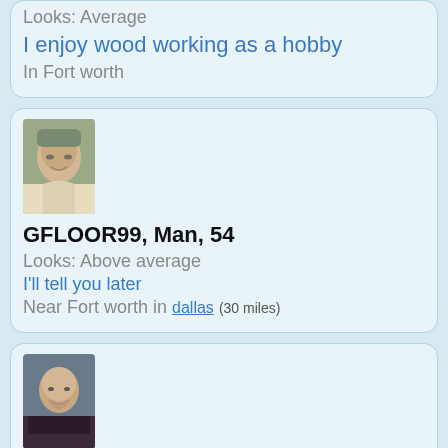Looks: Average
I enjoy wood working as a hobby
In Fort worth
[Figure (photo): Profile photo of GFLOOR99, older man with glasses and cap]
GFLOOR99, Man, 54
Looks: Above average
I'll tell you later
Near Fort worth in dallas (30 miles)
[Figure (photo): Profile photo of ETHAN420, young man smiling]
ETHAN420, Man, 18
Looks: Average